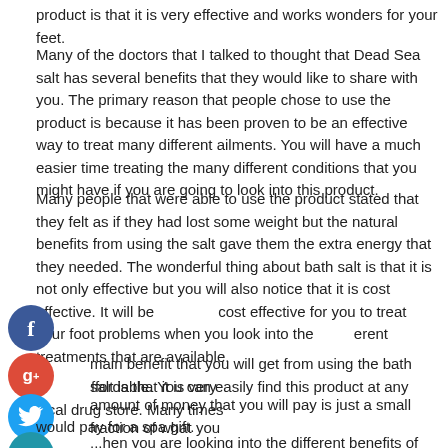product is that it is very effective and works wonders for your feet.
Many of the doctors that I talked to thought that Dead Sea salt has several benefits that they would like to share with you. The primary reason that people chose to use the product is because it has been proven to be an effective way to treat many different ailments. You will have a much easier time treating the many different conditions that you might have if you are going to look into this product.
Many people that were able to use the product stated that they felt as if they had lost some weight but the natural benefits from using the salt gave them the extra energy that they needed. The wonderful thing about bath salt is that it is not only effective but you will also notice that it is cost effective. It will be cost effective for you to treat your foot problems when you look into the different treatments that are available.
main benefit that you will get from using the bath salt is that it is very affordable. You can easily find this product at any local drug store. Many times amount of money that you will pay is just a small fraction of what you would pay for a spa gift.
When you are looking into the different benefits of bath salt then you will also find that this product is very effective. This product is great for treating many different types of ailments that you might have. It will also work very well for the treatments that you might need for skin conditions and other types of